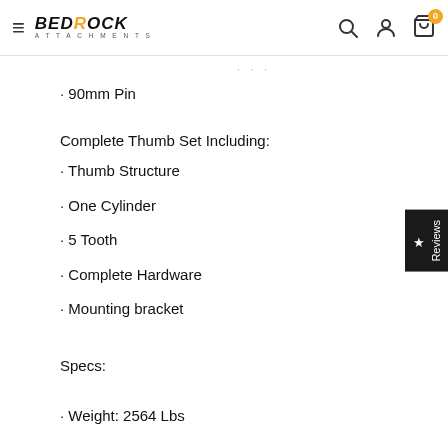Bedrock Attachments – navigation bar with hamburger menu, logo, search, account, and cart icons
90mm Pin
Complete Thumb Set Including:
Thumb Structure
One Cylinder
5 Tooth
Complete Hardware
Mounting bracket
Specs:
Weight: 2564 Lbs